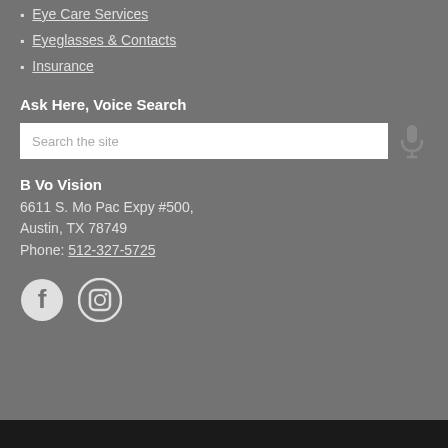Eye Care Services
Eyeglasses & Contacts
Insurance
Ask Here, Voice Search
[Figure (other): Search input box with placeholder 'Search the site' and a microphone icon to the right]
B Vo Vision
6611 S. Mo Pac Expy #500,
Austin, TX 78749
Phone: 512-327-5725
[Figure (other): Facebook and Instagram social media icons]